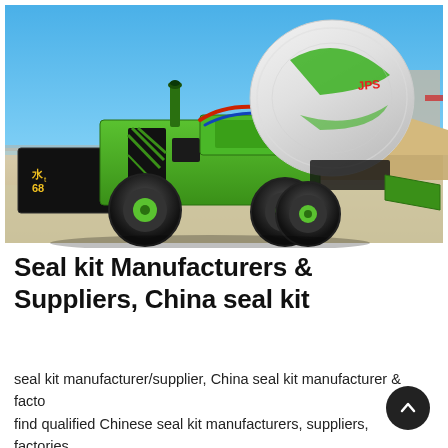[Figure (photo): A green self-loading concrete mixer truck parked on a sandy construction site under a clear blue sky. The machine is bright green and black with large tires and a white rotating drum. There are sand/aggregate piles and industrial buildings in the background.]
Seal kit Manufacturers & Suppliers, China seal kit
seal kit manufacturer/supplier, China seal kit manufacturer & factory list, find qualified Chinese seal kit manufacturers, suppliers, factories, exporters & wholesalers quickly on Made-in-China.com.